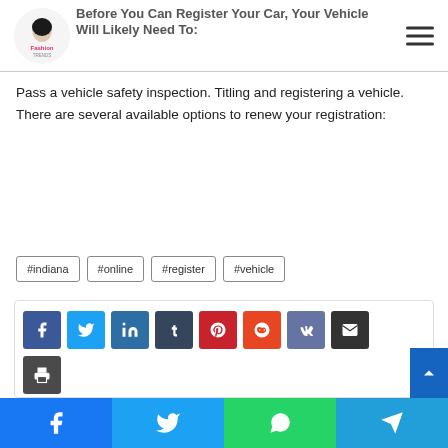Before You Can Register Your Car, Your Vehicle Will Likely Need To: — Fashion Trends (logo)
Before You Can Register Your Car, Your Vehicle Will Likely Need To:
Pass a vehicle safety inspection. Titling and registering a vehicle. There are several available options to renew your registration:
#indiana
#online
#register
#vehicle
[Figure (infographic): Social share buttons: Facebook, Twitter, LinkedIn, Tumblr, Pinterest, Reddit, VK, Email, Print icons in colored squares. Bottom bar with Facebook, Twitter, WhatsApp, Telegram share buttons.]